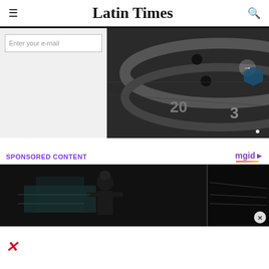Latin Times
Enter your e-mail
[Figure (photo): Close-up black and white photo of a weight plate showing the number 20, with navigation arrow and hexagon overlay icon]
SPONSORED CONTENT
[Figure (logo): mgid logo with play button icon and colored underline]
[Figure (photo): Sponsored content image showing a woman with hair bun in dark background setting]
×